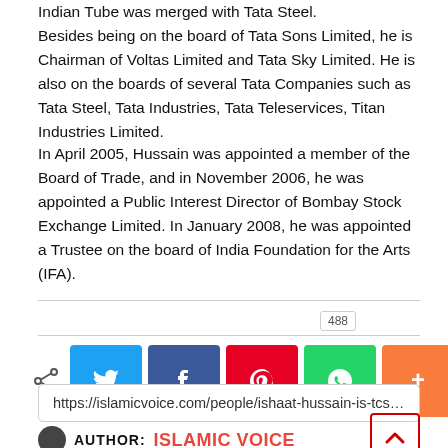Indian Tube was merged with Tata Steel. Besides being on the board of Tata Sons Limited, he is Chairman of Voltas Limited and Tata Sky Limited. He is also on the boards of several Tata Companies such as Tata Steel, Tata Industries, Tata Teleservices, Titan Industries Limited.
In April 2005, Hussain was appointed a member of the Board of Trade, and in November 2006, he was appointed a Public Interest Director of Bombay Stock Exchange Limited. In January 2008, he was appointed a Trustee on the board of India Foundation for the Arts (IFA).
[Figure (other): Social share count badge showing 488]
[Figure (other): Social media share buttons: Twitter, Facebook, Pinterest, WhatsApp, More]
https://islamicvoice.com/people/ishaat-hussain-is-tcs-ch
AUTHOR: ISLAMIC VOICE